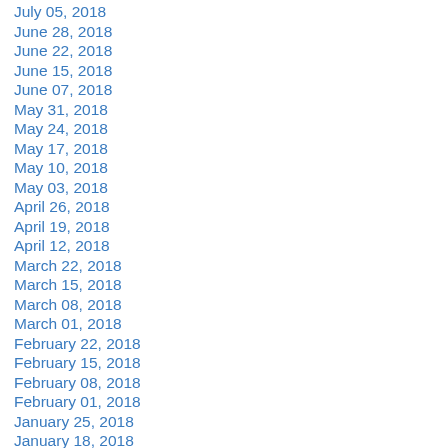July 05, 2018
June 28, 2018
June 22, 2018
June 15, 2018
June 07, 2018
May 31, 2018
May 24, 2018
May 17, 2018
May 10, 2018
May 03, 2018
April 26, 2018
April 19, 2018
April 12, 2018
March 22, 2018
March 15, 2018
March 08, 2018
March 01, 2018
February 22, 2018
February 15, 2018
February 08, 2018
February 01, 2018
January 25, 2018
January 18, 2018
January 11, 2018
January 04, 2018